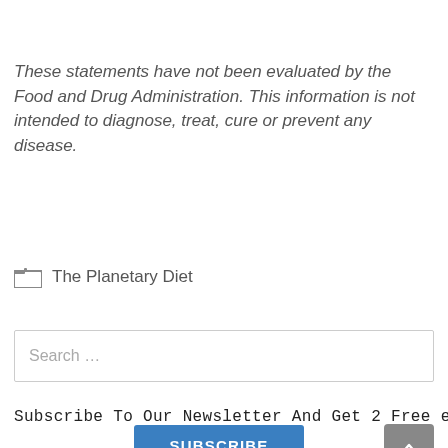These statements have not been evaluated by the Food and Drug Administration. This information is not intended to diagnose, treat, cure or prevent any disease.
The Planetary Diet
Search ...
Subscribe To Our Newsletter And Get 2 Free eBooks
SUBSCRIBE